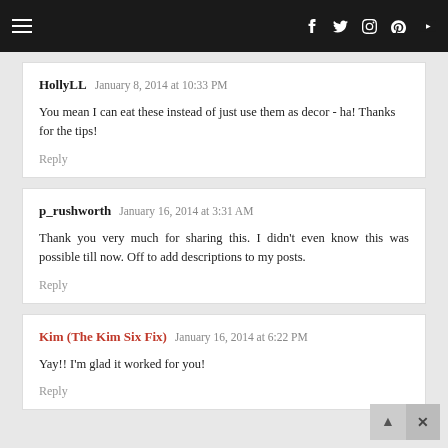Navigation and social icons bar
HollyLL  January 8, 2014 at 10:33 PM
You mean I can eat these instead of just use them as decor - ha! Thanks for the tips!
Reply
p_rushworth  January 16, 2014 at 3:31 AM
Thank you very much for sharing this. I didn't even know this was possible till now. Off to add descriptions to my posts.
Reply
Kim (The Kim Six Fix)  January 16, 2014 at 6:22 PM
Yay!! I'm glad it worked for you!
Reply